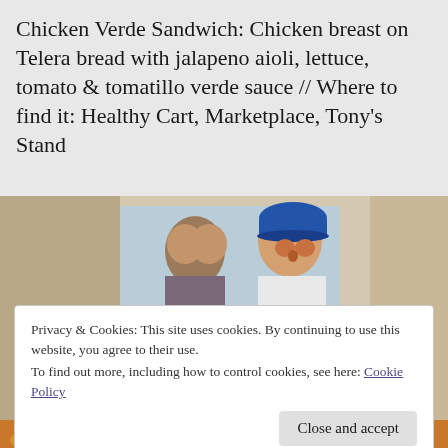Chicken Verde Sandwich: Chicken breast on Telera bread with jalapeno aioli, lettuce, tomato & tomatillo verde sauce // Where to find it: Healthy Cart, Marketplace, Tony's Stand
[Figure (photo): Close-up photo of a Chicken Verde Sandwich with golden-sauced chicken on bread, with a painted mural of two baseball players in the background, one wearing a blue Dodgers cap.]
Privacy & Cookies: This site uses cookies. By continuing to use this website, you agree to their use.
To find out more, including how to control cookies, see here: Cookie Policy
Close and accept
[Figure (photo): Partial bottom strip showing another food item.]